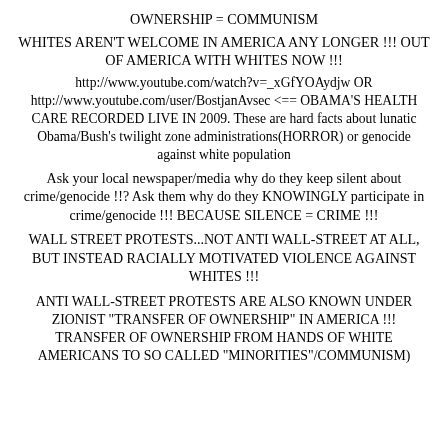OWNERSHIP = COMMUNISM
WHITES AREN’T WELCOME IN AMERICA ANY LONGER !!! OUT OF AMERICA WITH WHITES NOW !!!
http://www.youtube.com/watch?v=_xGfYOAydjw OR http://www.youtube.com/user/BostjanAvsec <== OBAMA’S HEALTH CARE RECORDED LIVE IN 2009. These are hard facts about lunatic Obama/Bush’s twilight zone administrations(HORROR) or genocide against white population
Ask your local newspaper/media why do they keep silent about crime/genocide !!? Ask them why do they KNOWINGLY participate in crime/genocide !!! BECAUSE SILENCE = CRIME !!!
WALL STREET PROTESTS...NOT ANTI WALL-STREET AT ALL, BUT INSTEAD RACIALLY MOTIVATED VIOLENCE AGAINST WHITES !!!
ANTI WALL-STREET PROTESTS ARE ALSO KNOWN UNDER ZIONIST "TRANSFER OF OWNERSHIP" IN AMERICA !!! TRANSFER OF OWNERSHIP FROM HANDS OF WHITE AMERICANS TO SO CALLED "MINORITIES"/COMMUNISM)